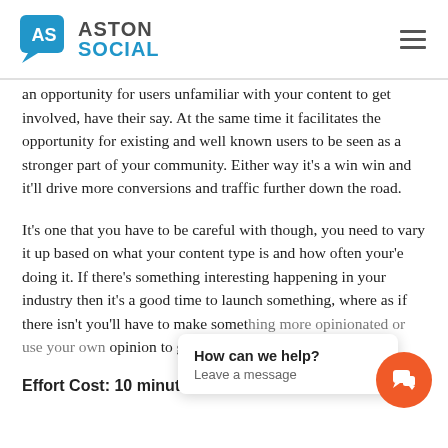ASTON SOCIAL
an opportunity for users unfamiliar with your content to get involved, have their say. At the same time it facilitates the opportunity for existing and well known users to be seen as a stronger part of your community. Either way it's a win win and it'll drive more conversions and traffic further down the road.
It's one that you have to be careful with though, you need to vary it up based on what your content type is and how often your'e doing it. If there's something interesting happening in your industry then it's a good time to launch something, where as if there isn't you'll have to make somet... opinion to get some...
Effort Cost: 10 minutes a day
[Figure (screenshot): Chat popup with 'How can we help? Leave a message' and an orange chat button]